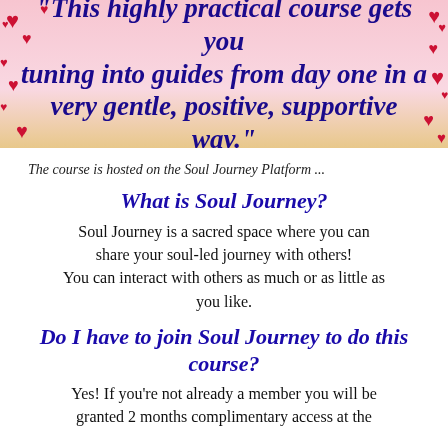[Figure (illustration): Pink and golden banner background with red hearts scattered, containing bold italic blue text: "This highly practical course gets you tuning into guides from day one in a very gentle, positive, supportive way."]
The course is hosted on the Soul Journey Platform ...
What is Soul Journey?
Soul Journey is a sacred space where you can share your soul-led journey with others! You can interact with others as much or as little as you like.
Do I have to join Soul Journey to do this course?
Yes! If you're not already a member you will be granted 2 months complimentary access at the